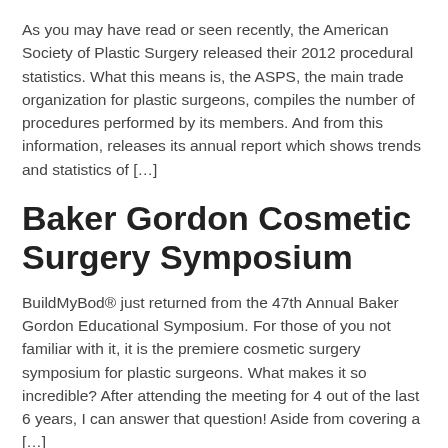As you may have read or seen recently, the American Society of Plastic Surgery released their 2012 procedural statistics. What this means is, the ASPS, the main trade organization for plastic surgeons, compiles the number of procedures performed by its members. And from this information, releases its annual report which shows trends and statistics of […]
Baker Gordon Cosmetic Surgery Symposium
BuildMyBod® just returned from the 47th Annual Baker Gordon Educational Symposium. For those of you not familiar with it, it is the premiere cosmetic surgery symposium for plastic surgeons. What makes it so incredible? After attending the meeting for 4 out of the last 6 years, I can answer that question! Aside from covering a […]
Lil' Kim in the Plastic Surgery